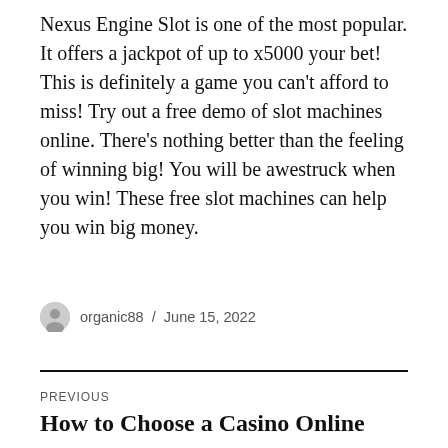Nexus Engine Slot is one of the most popular. It offers a jackpot of up to x5000 your bet! This is definitely a game you can't afford to miss! Try out a free demo of slot machines online. There's nothing better than the feeling of winning big! You will be awestruck when you win! These free slot machines can help you win big money.
organic88 / June 15, 2022
PREVIOUS
How to Choose a Casino Online